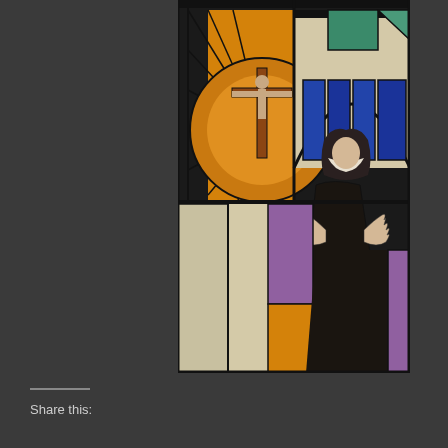[Figure (photo): A stained glass window depicting a religious scene. On the left side is a crucifix with Jesus Christ on a cross surrounded by golden radiant rays forming a circular halo pattern. On the right side stands a robed figure, likely a saint or nun, wearing dark robes with hands raised in a gesture of prayer or stigmata display, looking upward. The background features blue and amber colored glass panels with geometric patterns.]
Share this: